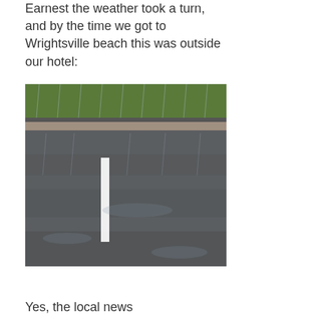Earnest the weather took a turn, and by the time we got to Wrightsville beach this was outside our hotel:
[Figure (photo): A photograph of a wet road during heavy rain with a white lane marking visible, surrounded by green vegetation and a guardrail at the top.]
Yes, the local news